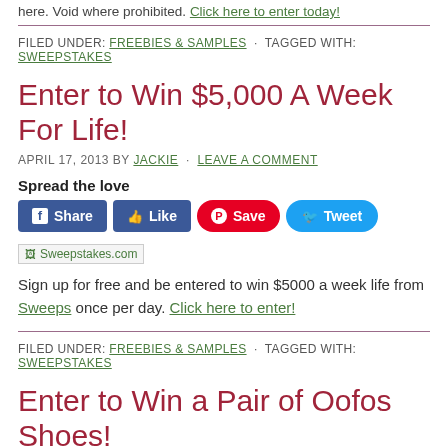here. Void where prohibited. Click here to enter today!
FILED UNDER: FREEBIES & SAMPLES · TAGGED WITH: SWEEPSTAKES
Enter to Win $5,000 A Week For Life!
APRIL 17, 2013 BY JACKIE · LEAVE A COMMENT
Spread the love
[Figure (other): Social sharing buttons: Share, Like, Save, Tweet]
[Figure (other): Sweepstakes.com image placeholder]
Sign up for free and be entered to win $5000 a week life from Sweeps once per day. Click here to enter!
FILED UNDER: FREEBIES & SAMPLES · TAGGED WITH: SWEEPSTAKES
Enter to Win a Pair of Oofos Shoes!
FEBRUARY 26, 2013 BY JACKIE · LEAVE A COMMENT